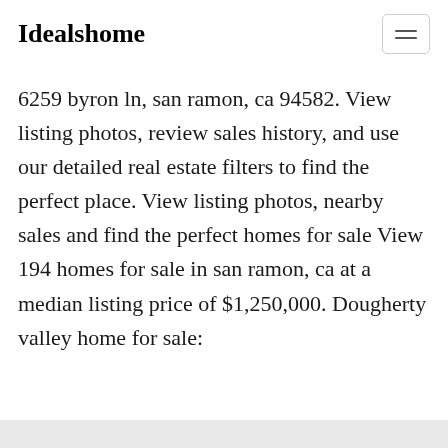Idealshome
6259 byron ln, san ramon, ca 94582. View listing photos, review sales history, and use our detailed real estate filters to find the perfect place. View listing photos, nearby sales and find the perfect homes for sale View 194 homes for sale in san ramon, ca at a median listing price of $1,250,000. Dougherty valley home for sale: